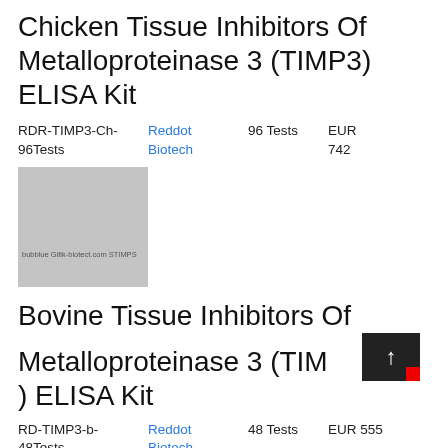Chicken Tissue Inhibitors Of Metalloproteinase 3 (TIMP3) ELISA Kit
RDR-TIMP3-Ch-96Tests
Reddot Biotech
96 Tests
EUR 742
[Figure (photo): Product image placeholder for Chicken TIMP3 ELISA Kit, gray rectangle with small label text]
Bovine Tissue Inhibitors Of Metalloproteinase 3 (TIMP3) ELISA Kit
RD-TIMP3-b-48Tests
Reddot Biotech
48 Tests
EUR 555